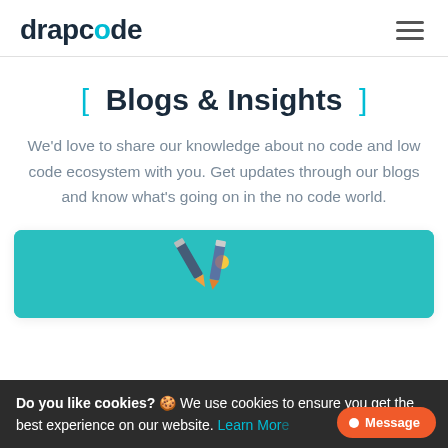drapcode
[ Blogs & Insights ]
We'd love to share our knowledge about no code and low code ecosystem with you. Get updates through our blogs and know what's going on in the no code world.
[Figure (illustration): Teal/turquoise card image area showing a partial illustration with a no-code/low-code graphic (pencil/code icon) on a teal background]
Do you like cookies? 🍪 We use cookies to ensure you get the best experience on our website. Learn More